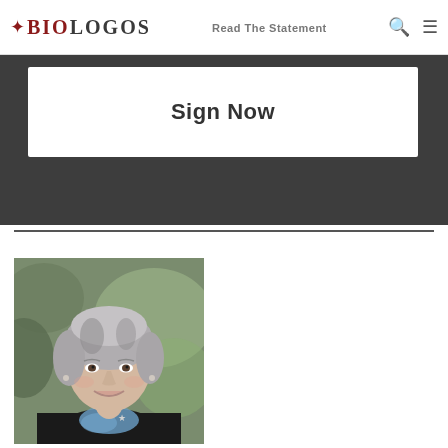BioLogos | Read The Statement
Sign Now
[Figure (photo): Professional headshot of a woman with short gray-streaked hair wearing a black blazer with a star brooch and a blue floral blouse, photographed outdoors with blurred green foliage background.]